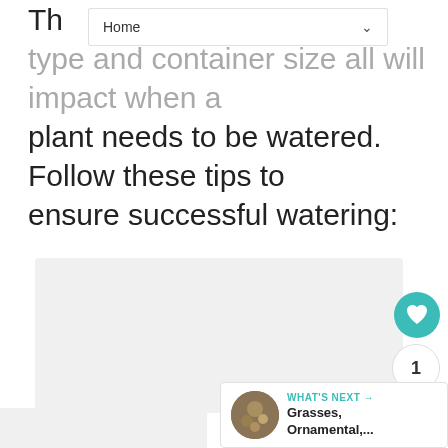Home
Th... type and container size all will impact when a plant needs to be watered. Follow these tips to ensure successful watering:
[Figure (other): Gray placeholder content box for an image or embedded content]
[Figure (other): Teal heart/like button (circular), count bubble showing 1, and share button (circular) on the right side]
WHAT'S NEXT → Grasses, Ornamental,...